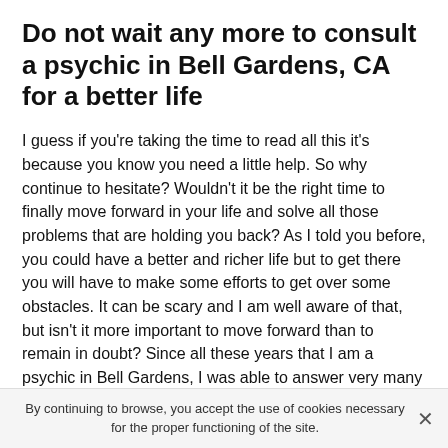Do not wait any more to consult a psychic in Bell Gardens, CA for a better life
I guess if you're taking the time to read all this it's because you know you need a little help. So why continue to hesitate? Wouldn't it be the right time to finally move forward in your life and solve all those problems that are holding you back? As I told you before, you could have a better and richer life but to get there you will have to make some efforts to get over some obstacles. It can be scary and I am well aware of that, but isn't it more important to move forward than to remain in doubt? Since all these years that I am a psychic in Bell Gardens, I was able to answer very many requests and thanks to that people are very happy because they finally decided to take their life in hand.
By continuing to browse, you accept the use of cookies necessary for the proper functioning of the site.